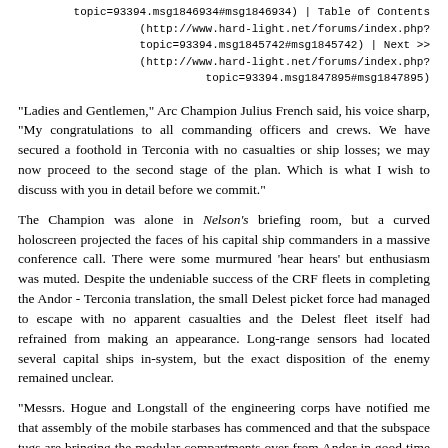topic=93394.msg1846934#msg1846934) | Table of Contents (http://www.hard-light.net/forums/index.php?topic=93394.msg1845742#msg1845742) | Next >> (http://www.hard-light.net/forums/index.php?topic=93394.msg1847895#msg1847895)
"Ladies and Gentlemen," Arc Champion Julius French said, his voice sharp, "My congratulations to all commanding officers and crews. We have secured a foothold in Terconia with no casualties or ship losses; we may now proceed to the second stage of the plan. Which is what I wish to discuss with you in detail before we commit."
The Champion was alone in Nelson's briefing room, but a curved holoscreen projected the faces of his capital ship commanders in a massive conference call. There were some murmured 'hear hears' but enthusiasm was muted. Despite the undeniable success of the CRF fleets in completing the Andor - Terconia translation, the small Delest picket force had managed to escape with no apparent casualties and the Delest fleet itself had refrained from making an appearance. Long-range sensors had located several capital ships in-system, but the exact disposition of the enemy remained unclear.
"Messrs. Hogue and Longstall of the engineering corps have notified me that assembly of the mobile starbases has commenced and that the subspace tugs are bringing the modular compartments over from Andor in good time and order. In a couple of weeks, the Starlance will be relatively...